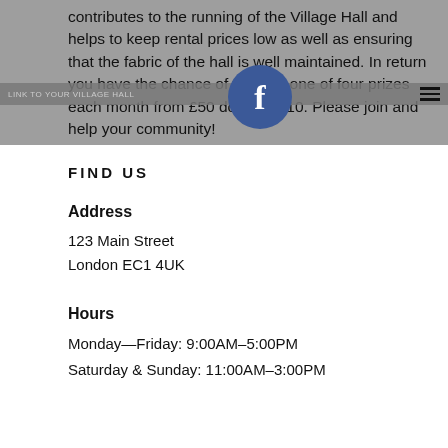contributes to the running of the Village Hall and helps to keep rental prices low as well as ensuring that the fabric of the hall is well maintained. In return you have the chance of winning one of four prizes each month from £50 down to £10.  Please join and help your community!
[Figure (logo): Facebook circle logo in dark blue with white letter f]
FIND US
Address
123 Main Street
London EC1 4UK
Hours
Monday—Friday: 9:00AM–5:00PM
Saturday & Sunday: 11:00AM–3:00PM